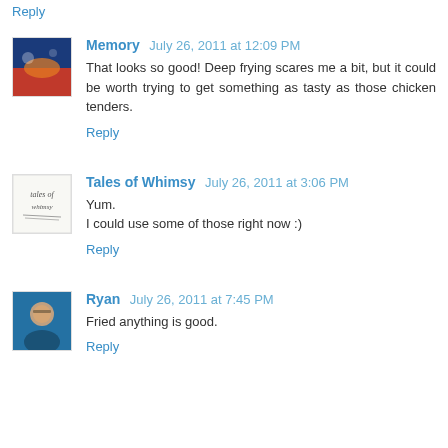Reply
Memory  July 26, 2011 at 12:09 PM
That looks so good! Deep frying scares me a bit, but it could be worth trying to get something as tasty as those chicken tenders.
Reply
Tales of Whimsy  July 26, 2011 at 3:06 PM
Yum.
I could use some of those right now :)
Reply
Ryan  July 26, 2011 at 7:45 PM
Fried anything is good.
Reply